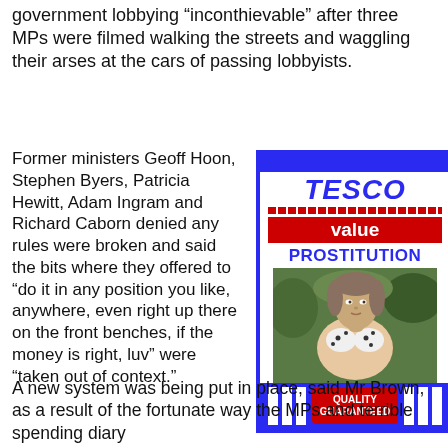government lobbying “inconthievable” after three MPs were filmed walking the streets and waggling their arses at the cars of passing lobbyists.
Former ministers Geoff Hoon, Stephen Byers, Patricia Hewitt, Adam Ingram and Richard Caborn denied any rules were broken and said the bits where they offered to “do it in any position you like, anywhere, even right up there on the front benches, if the money is right, luv” were “taken out of context.”
[Figure (illustration): Satirical Tesco Value product label card with blue border, red Tesco logo, red 'value' banner, blue 'PROSTITUTION' text, a manipulated photo of Gordon Brown's face on a woman's body in a bikini, and a red 'QUALITY GUARANTEED' badge at the bottom. Watermark: newstechnica.com]
A new system was being put in place, said Mr Brown, as a result of the fortunate way the MPs had terrible spending diary